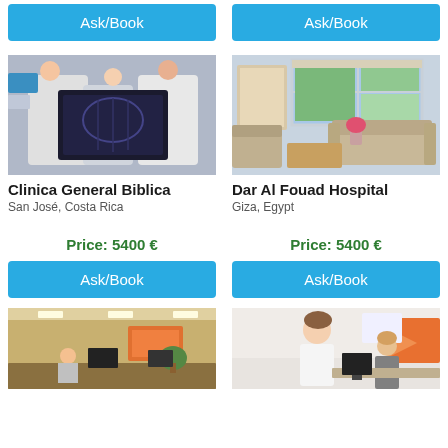[Figure (other): Ask/Book button top left]
[Figure (other): Ask/Book button top right]
[Figure (photo): Two doctors and a nurse examining an X-ray image - Clinica General Biblica]
[Figure (photo): Hospital room interior with sofa and window view - Dar Al Fouad Hospital]
Clinica General Biblica
San José, Costa Rica
Dar Al Fouad Hospital
Giza, Egypt
Price: 5400 €
Price: 5400 €
[Figure (other): Ask/Book button bottom left]
[Figure (other): Ask/Book button bottom right]
[Figure (photo): Hospital reception/waiting area interior - bottom left]
[Figure (photo): Medical professional at reception desk - bottom right]